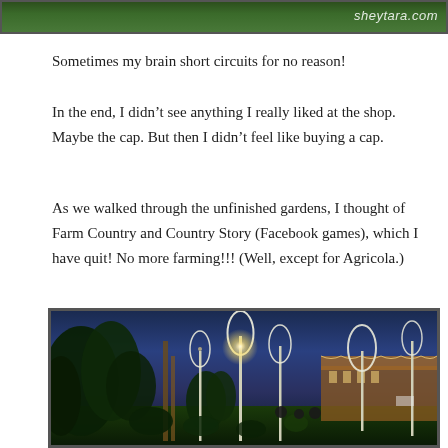[Figure (photo): Top portion of a photo showing garden/outdoor area with sheytara.com watermark text visible in top right]
Sometimes my brain short circuits for no reason!
In the end, I didn’t see anything I really liked at the shop. Maybe the cap. But then I didn’t feel like buying a cap.
As we walked through the unfinished gardens, I thought of Farm Country and Country Story (Facebook games), which I have quit! No more farming!!! (Well, except for Agricola.)
[Figure (photo): Night photo of an outdoor garden/plaza area with illuminated decorative leaf-shaped sculptures on tall poles, trees, and a lit building in the background]